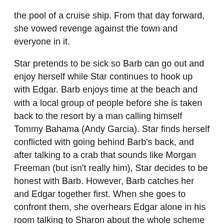the pool of a cruise ship. From that day forward, she vowed revenge against the town and everyone in it.
Star pretends to be sick so Barb can go out and enjoy herself while Star continues to hook up with Edgar. Barb enjoys time at the beach and with a local group of people before she is taken back to the resort by a man calling himself Tommy Bahama (Andy Garcia). Star finds herself conflicted with going behind Barb's back, and after talking to a crab that sounds like Morgan Freeman (but isn't really him), Star decides to be honest with Barb. However, Barb catches her and Edgar together first. When she goes to confront them, she overhears Edgar alone in his room talking to Sharon about the whole scheme to attack the town. She in turn tells Edgar that Barb and Star are spies, per Darlie's pictures sent to her. Edgar catches Barb outside and thinks she really was spying on him and betraying him.